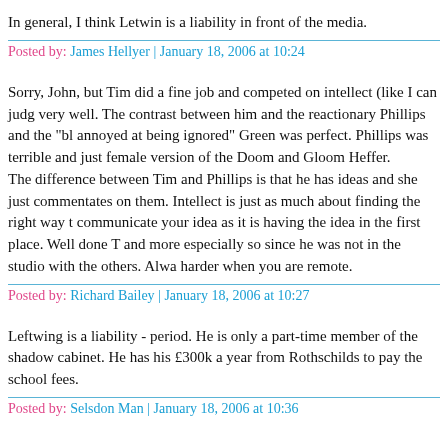In general, I think Letwin is a liability in front of the media.
Posted by: James Hellyer | January 18, 2006 at 10:24
Sorry, John, but Tim did a fine job and competed on intellect (like I can judge) very well. The contrast between him and the reactionary Phillips and the "bl annoyed at being ignored" Green was perfect. Phillips was terrible and just female version of the Doom and Gloom Heffer.
The difference between Tim and Phillips is that he has ideas and she just commentates on them. Intellect is just as much about finding the right way to communicate your idea as it is having the idea in the first place. Well done T and more especially so since he was not in the studio with the others. Alwa harder when you are remote.
Posted by: Richard Bailey | January 18, 2006 at 10:27
Leftwing is a liability - period. He is only a part-time member of the shadow cabinet. He has his £300k a year from Rothschilds to pay the school fees.
Posted by: Selsdon Man | January 18, 2006 at 10:36